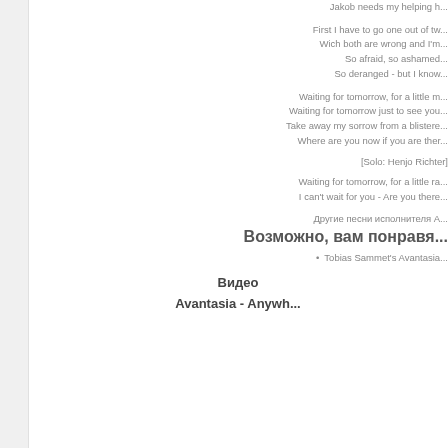Jakob needs my helping h...
First I have to go one out of tw...
Wich both are wrong and I'm...
So afraid, so ashamed...
So deranged - but I know...
Waiting for tomorrow, for a little m...
Waiting for tomorrow just to see you...
Take away my sorrow from a blistere...
Where are you now if you are ther...
[Solo: Henjo Richter]
Waiting for tomorrow, for a little ra...
I can't wait for you - Are you there...
Другие песни исполнителя А...
Возможно, вам понравя...
Tobias Sammet's Avantasia...
Видео
Avantasia - Anywh...